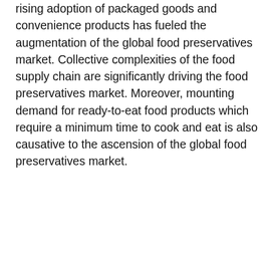rising adoption of packaged goods and convenience products has fueled the augmentation of the global food preservatives market. Collective complexities of the food supply chain are significantly driving the food preservatives market. Moreover, mounting demand for ready-to-eat food products which require a minimum time to cook and eat is also causative to the ascension of the global food preservatives market.